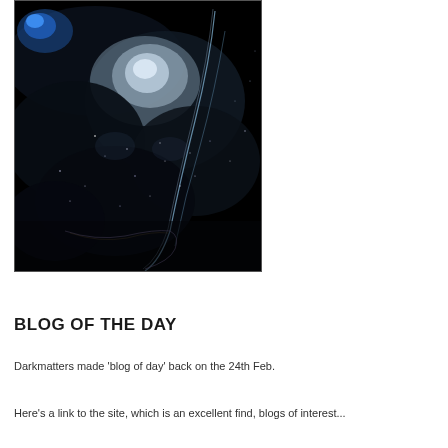[Figure (illustration): A dark space/nebula illustration with swirling blue and white light streaks and star clusters against a black background]
BLOG OF THE DAY
Darkmatters made 'blog of day' back on the 24th Feb.
Here's a link to the site, which is an excellent find, blogs of interest...